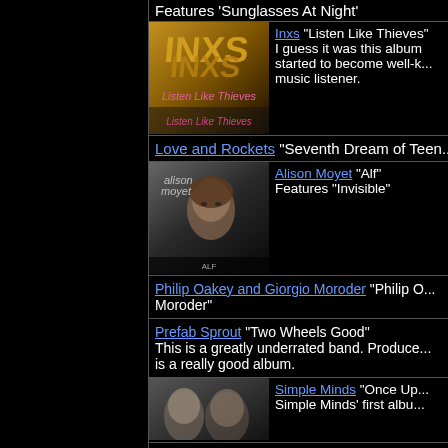Features 'Sunglasses At Night'
[Figure (photo): INXS 'Listen Like Thieves' album cover with gold INXS logo text]
Inxs "Listen Like Thieves" I guess it was this album started to become well-k... music listener.
Love and Rockets "Seventh Dream of Teen..."
[Figure (photo): Alison Moyet 'Alf' album cover showing a woman's face]
Alison Moyet "Alf" Features "Invisible"
Philip Oakey and Giorgio Moroder "Philip O... Moroder"
Prefab Sprout "Two Wheels Good" This is a greatly underrated band. Produce... is a really good album.
[Figure (photo): Simple Minds album cover showing a close-up of faces]
Simple Minds "Once Up..." Simple Minds' first albu...